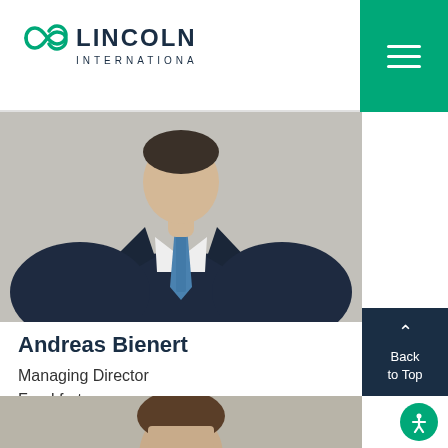Lincoln International
[Figure (photo): Professional headshot of Andreas Bienert wearing a dark navy suit with a blue patterned tie and white shirt, photographed from chest up against a neutral background.]
Andreas Bienert
Managing Director
Frankfurt
[Figure (photo): Professional headshot of another person with brown hair, photographed from shoulders up against a beige/grey background.]